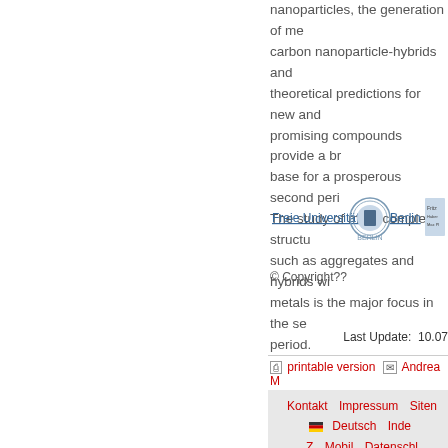nanoparticles, the generation of me- carbon nanoparticle-hybrids and theoretical predictions for new and promising compounds provide a br- base for a prosperous second peri-. The study of more complex structu- such as aggregates and hybrids wi- metals is the major focus in the se- period.
[Figure (logo): Freie Universität Berlin logo with seal and partially visible Fritz Haber Institut logo]
© Copyright??
Last Update:  10.07
printable version | Andrea M
Kontakt   Impressum   Sitem  🇩🇪 Deutsch   Inde-  Z   Mobil   Datenschl